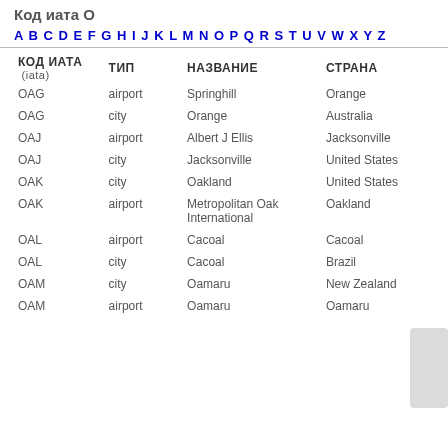Код иата О
A B C D E F G H I J K L M N O P Q R S T U V W X Y Z
| КОД ИАТА (iata) | ТИП | НАЗВАНИЕ | СТРАНА |
| --- | --- | --- | --- |
| OAG | airport | Springhill | Orange |
| OAG | city | Orange | Australia |
| OAJ | airport | Albert J Ellis | Jacksonville |
| OAJ | city | Jacksonville | United States |
| OAK | city | Oakland | United States |
| OAK | airport | Metropolitan Oak International | Oakland |
| OAL | airport | Cacoal | Cacoal |
| OAL | city | Cacoal | Brazil |
| OAM | city | Oamaru | New Zealand |
| OAM | airport | Oamaru | Oamaru |